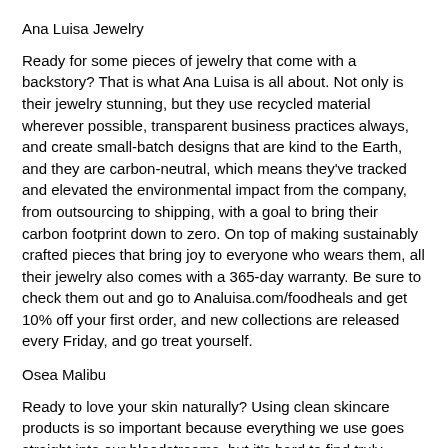Ana Luisa Jewelry
Ready for some pieces of jewelry that come with a backstory? That is what Ana Luisa is all about. Not only is their jewelry stunning, but they use recycled material wherever possible, transparent business practices always, and create small-batch designs that are kind to the Earth, and they are carbon-neutral, which means they've tracked and elevated the environmental impact from the company, from outsourcing to shipping, with a goal to bring their carbon footprint down to zero. On top of making sustainably crafted pieces that bring joy to everyone who wears them, all their jewelry also comes with a 365-day warranty. Be sure to check them out and go to Analuisa.com/foodheals and get 10% off your first order, and new collections are released every Friday, and go treat yourself.
Osea Malibu
Ready to love your skin naturally? Using clean skincare products is so important because everything we use goes straight into our bloodstreams, but it's hard to find truly clean, safe, and effective products. That's why I choose to use Osea Malibu for my skincare. Drawing inspiration from the sun and Earth, Osea was created with one intention in mind - to deliver the best skincare products with the highest quality ingredients that are sourced from all over the world. This approach has allowed them to eliminate harmful ingredients while still allowing effective skincare solutions. OSEA products are plant-based, gluten-free, and pride themselves on delivering vegan skincare products to the world. Be sure to visit Oseamalibu.com and get 10% off your first order when